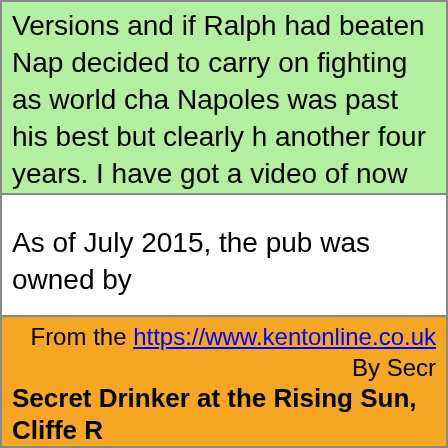Versions and if Ralph had beaten Nap decided to carry on fighting as world cha Napoles was past his best but clearly h another four years. I have got a video of now and again and it still gives me a hea
As of July 2015, the pub was owned by
From the https://www.kentonline.co.uk By Secr Secret Drinker at the Rising Sun, Cliffe R Taking the opportunity to tick Z off m mention looking forward to a pint right or "Zetland Arms" just outside Deal. Negotiating the shale almost to the w carefully only to have my hopes dashe closed for a private party.